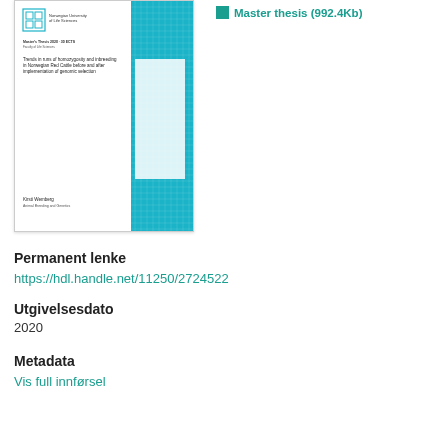[Figure (illustration): Thumbnail of a master thesis cover page from Norwegian University of Life Sciences. Title: Trends in runs of homozygosity and inbreeding in Norwegian Red Cattle before and after implementation of genomic selection. Author: Kirsti Wemberg, Animal Breeding and Genetics.]
Master thesis (992.4Kb)
Permanent lenke
https://hdl.handle.net/11250/2724522
Utgivelsesdato
2020
Metadata
Vis full innførsel